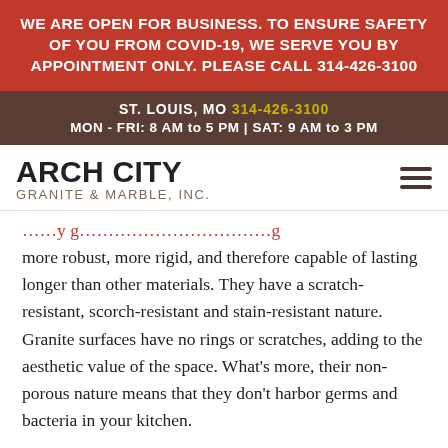WE ARE OPEN FOR BUSINESS. TO ENSURE SAFETY OF YOU FROM COVID-19, WE SERVE YOU BY APPOINTMENT ONLY. PLEASE CALL 314-426-3100
ST. LOUIS, MO 314-426-3100 MON - FRI: 8 AM to 5 PM | SAT: 9 AM to 3 PM
ARCH CITY GRANITE & MARBLE, INC.
more robust, more rigid, and therefore capable of lasting longer than other materials. They have a scratch-resistant, scorch-resistant and stain-resistant nature. Granite surfaces have no rings or scratches, adding to the aesthetic value of the space. What's more, their non-porous nature means that they don't harbor germs and bacteria in your kitchen.